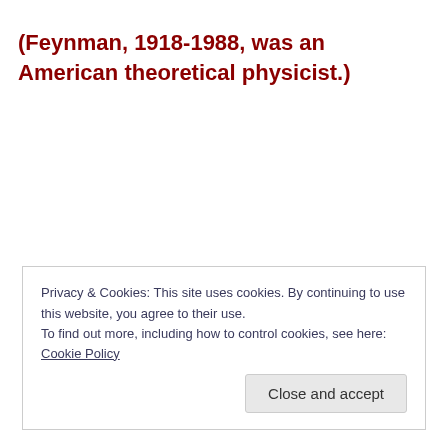(Feynman, 1918-1988, was an American theoretical physicist.)
Privacy & Cookies: This site uses cookies. By continuing to use this website, you agree to their use.
To find out more, including how to control cookies, see here: Cookie Policy